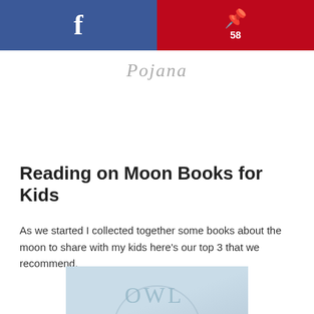f [Facebook share button] | P 58 [Pinterest share button]
[Figure (logo): Cursive script logo/signature in light gray]
[Figure (other): Advertisement placeholder area]
Reading on Moon Books for Kids
As we started I collected together some books about the moon to share with my kids here’s our top 3 that we recommend.
[Figure (photo): Partial book cover image with light blue background, partially visible]